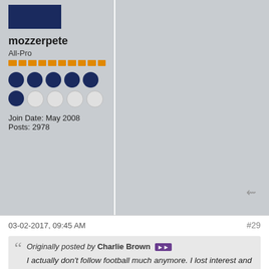[Figure (other): Dark navy blue avatar/profile image placeholder rectangle]
mozzerpete
All-Pro
[Figure (other): Orange reputation pips row]
[Figure (other): Row of dark blue filled circles and grey/white empty circles indicating user stats]
Join Date: May 2008   Posts: 2978
03-02-2017, 09:45 AM
#29
Originally posted by Charlie Brown
I actually don't follow football much anymore. I lost interest and came to the point where I realized that that team will never be the Browns and that the Browns are - for lack of a better word - dead.

So, there is no "team" that is mine in the NFL.
I understand your POV and can sympathize with you.
Interestingly enough, the year after DEN's Championship season (this past NFL season) I realized my Broncos fanaticism did not add or offer anything of value to my life.
I'm originally from California, and in third grade, I picked DEN because I liked the logo, team colors, and wanted to be different